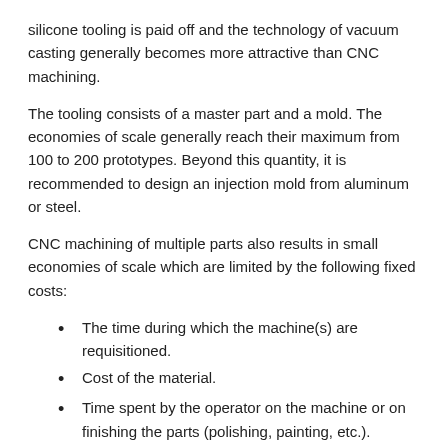silicone tooling is paid off and the technology of vacuum casting generally becomes more attractive than CNC machining.
The tooling consists of a master part and a mold. The economies of scale generally reach their maximum from 100 to 200 prototypes. Beyond this quantity, it is recommended to design an injection mold from aluminum or steel.
CNC machining of multiple parts also results in small economies of scale which are limited by the following fixed costs:
The time during which the machine(s) are requisitioned.
Cost of the material.
Time spent by the operator on the machine or on finishing the parts (polishing, painting, etc.).
These economies of scale are lower than those of vacuum duplication. In addition, vacuum casting or vacuum duplication allows faster production than CNC machining for quantities exceeding ten.